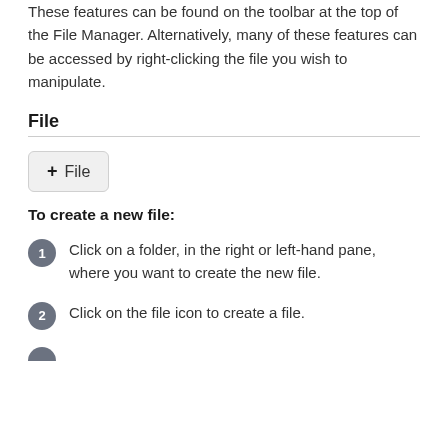These features can be found on the toolbar at the top of the File Manager. Alternatively, many of these features can be accessed by right-clicking the file you wish to manipulate.
File
[Figure (screenshot): A button labeled '+ File' with a rounded rectangle border and light gray background]
To create a new file:
Click on a folder, in the right or left-hand pane, where you want to create the new file.
Click on the file icon to create a file.
(partial, number 3, cut off at bottom)